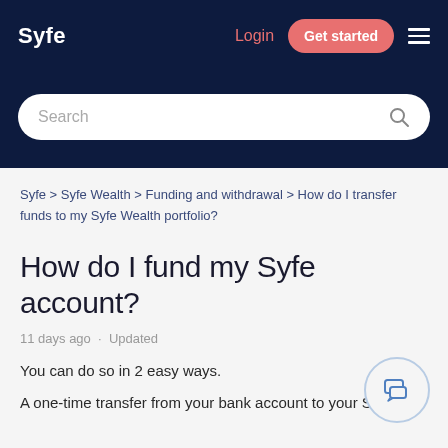Syfe  Login  Get started
[Figure (screenshot): Syfe website search bar on dark navy background]
Syfe > Syfe Wealth > Funding and withdrawal > How do I transfer funds to my Syfe Wealth portfolio?
How do I fund my Syfe account?
11 days ago · Updated
You can do so in 2 easy ways.
A one-time transfer from your bank account to your Syfe